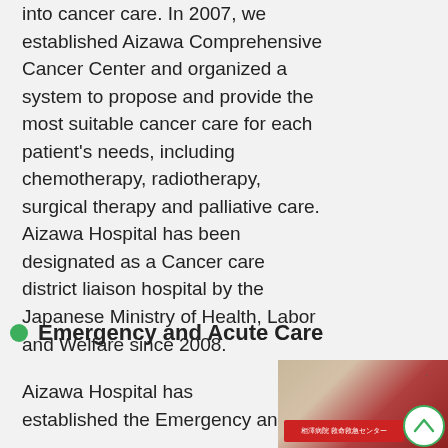into cancer care. In 2007, we established Aizawa Comprehensive Cancer Center and organized a system to propose and provide the most suitable cancer care for each patient's needs, including chemotherapy, radiotherapy, surgical therapy and palliative care. Aizawa Hospital has been designated as a Cancer care district liaison hospital by the Japanese Ministry of Health, Labor and Welfare since 2008.
Emergency and Acute Care
Aizawa Hospital has established the Emergency and
[Figure (photo): Photo of a hospital sign or emergency center entrance sign in red and Japanese text, showing exterior building signage for Aizawa Hospital emergency department.]